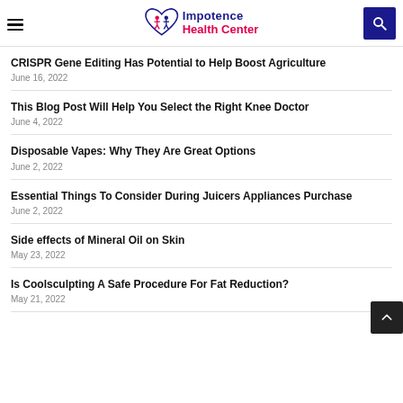Impotence Health Center
CRISPR Gene Editing Has Potential to Help Boost Agriculture
June 16, 2022
This Blog Post Will Help You Select the Right Knee Doctor
June 4, 2022
Disposable Vapes: Why They Are Great Options
June 2, 2022
Essential Things To Consider During Juicers Appliances Purchase
June 2, 2022
Side effects of Mineral Oil on Skin
May 23, 2022
Is Coolsculpting A Safe Procedure For Fat Reduction?
May 21, 2022